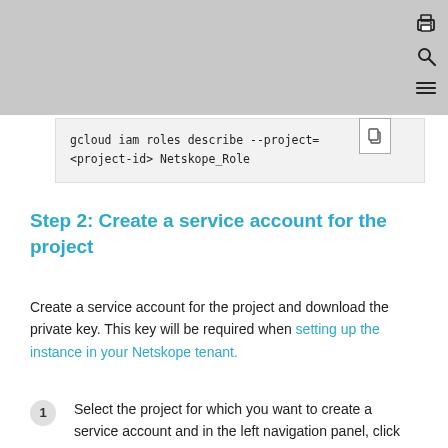[Figure (other): Gray header bar with print, search, and menu icons in top-right corner]
gcloud iam roles describe --project=
<project-id> Netskope_Role
Step 2: Create a service account for the project
Create a service account for the project and download the private key. This key will be required when setting up the instance in your Netskope tenant.
1. Select the project for which you want to create a service account and in the left navigation panel, click Service Accounts >